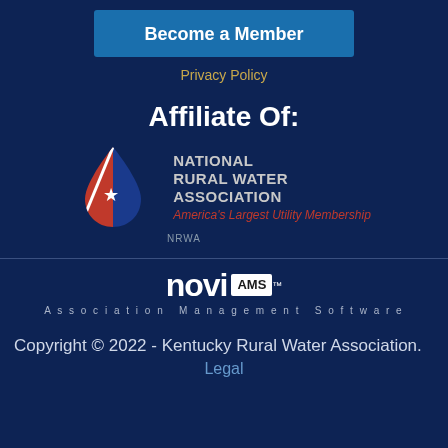Become a Member
Privacy Policy
Affiliate Of:
[Figure (logo): National Rural Water Association logo with water drop icon containing a star and American flag design, and text: NATIONAL RURAL WATER ASSOCIATION - America's Largest Utility Membership]
[Figure (logo): Novi AMS - Association Management Software logo]
Copyright © 2022 - Kentucky Rural Water Association.
Legal